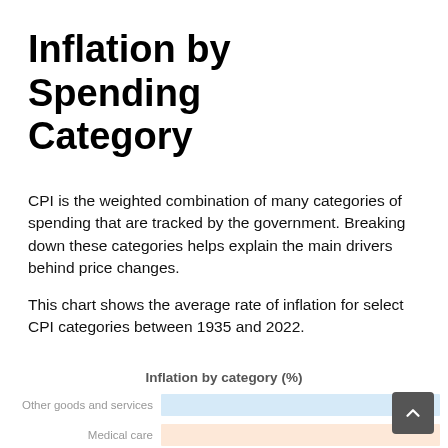Inflation by Spending Category
CPI is the weighted combination of many categories of spending that are tracked by the government. Breaking down these categories helps explain the main drivers behind price changes.
This chart shows the average rate of inflation for select CPI categories between 1935 and 2022.
[Figure (bar-chart): Horizontal bar chart showing inflation by spending category (%). Partially visible at bottom of page. Shows 'Other goods and services' with a light blue bar and 'Medical care' with a light orange/peach bar.]